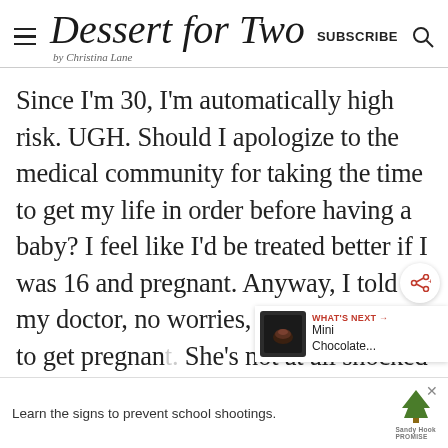Dessert for Two by Christina Lane | SUBSCRIBE
Since I'm 30, I'm automatically high risk. UGH. Should I apologize to the medical community for taking the time to get my life in order before having a baby? I feel like I'd be treated better if I was 16 and pregnant. Anyway, I told my doctor, no worries, we're not trying to get pregnant. She's not at all shocked when I c... just a few weeks after our conversation to
[Figure (screenshot): Sandy Hook Promise advertisement: 'Learn the signs to prevent school shootings.']